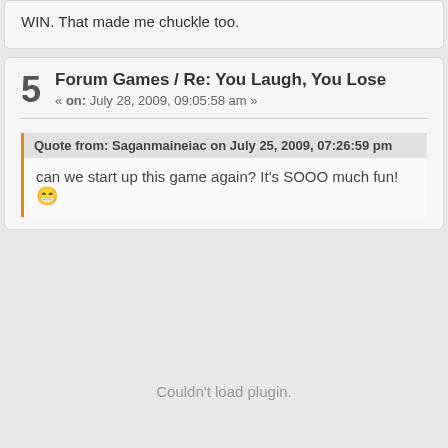WIN. That made me chuckle too.
5  Forum Games / Re: You Laugh, You Lose
« on: July 28, 2009, 09:05:58 am »
Quote from: Saganmaineiac on July 25, 2009, 07:26:59 pm
can we start up this game again? It's SOOO much fun! 😁
Couldn't load plugin.